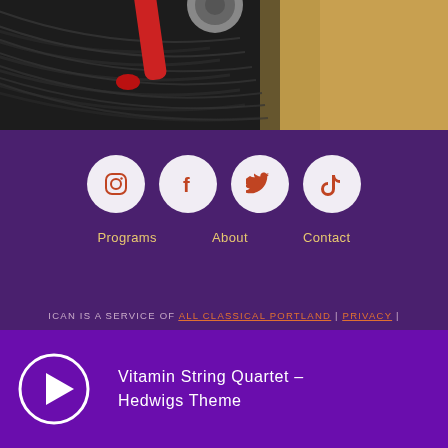[Figure (photo): Top portion of a vinyl record with a red record player needle/stylus, dark grooves visible against a beige/golden background]
[Figure (infographic): Four circular social media icons on purple background: Instagram, Facebook, Twitter, TikTok]
Programs   About   Contact
ICAN IS A SERVICE OF ALL CLASSICAL PORTLAND | PRIVACY | CONTACT
Vitamin String Quartet – Hedwigs Theme